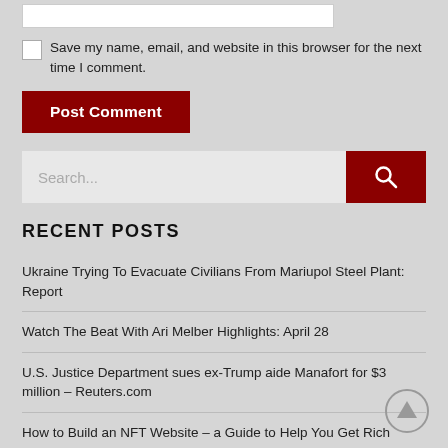[Figure (other): Text input box (website field)]
Save my name, email, and website in this browser for the next time I comment.
Post Comment
[Figure (other): Search bar with text input showing 'Search...' placeholder and dark red search button with magnifying glass icon]
RECENT POSTS
Ukraine Trying To Evacuate Civilians From Mariupol Steel Plant: Report
Watch The Beat With Ari Melber Highlights: April 28
U.S. Justice Department sues ex-Trump aide Manafort for $3 million – Reuters.com
How to Build an NFT Website – a Guide to Help You Get Rich